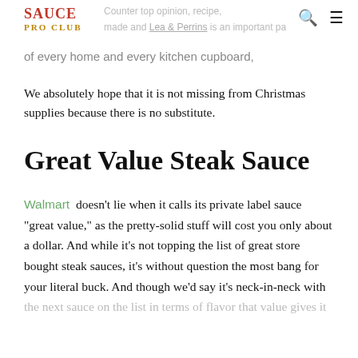SAUCE PRO CLUB
of every home and every kitchen cupboard,
We absolutely hope that it is not missing from Christmas supplies because there is no substitute.
Great Value Steak Sauce
Walmart doesn't lie when it calls its private label sauce “great value,” as the pretty-solid stuff will cost you only about a dollar. And while it’s not topping the list of great store bought steak sauces, it’s without question the most bang for your literal buck. And though we'd say it's neck-in-neck with the next sauce on the list in terms of flavor, that value gives it